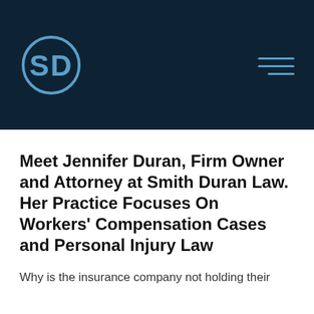[Figure (logo): Smith Duran Law logo — circular SD monogram in steel blue on dark navy background, with hamburger menu icon (three horizontal lines) on the right]
Meet Jennifer Duran, Firm Owner and Attorney at Smith Duran Law. Her Practice Focuses On Workers' Compensation Cases and Personal Injury Law
Why is the insurance company not holding their